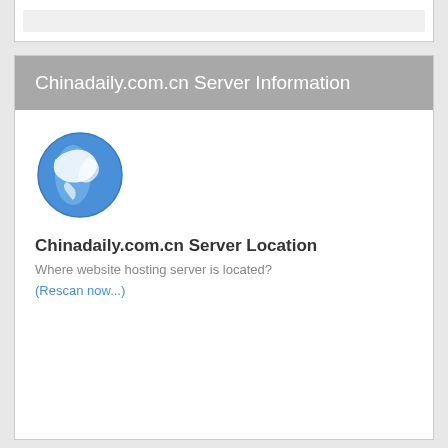[Figure (screenshot): Top browser bar area with light gray inner bar]
Chinadaily.com.cn Server Information
[Figure (illustration): Blue globe icon showing the Americas]
Chinadaily.com.cn Server Location
Where website hosting server is located?
(Rescan now...)